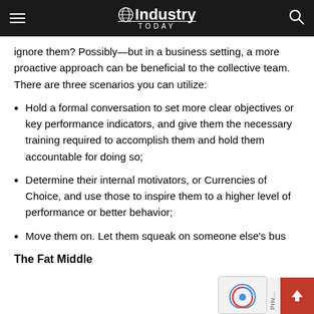Industry Today (navigation bar with logo, hamburger menu, and search icon)
ignore them? Possibly—but in a business setting, a more proactive approach can be beneficial to the collective team. There are three scenarios you can utilize:
Hold a formal conversation to set more clear objectives or key performance indicators, and give them the necessary training required to accomplish them and hold them accountable for doing so;
Determine their internal motivators, or Currencies of Choice, and use those to inspire them to a higher level of performance or better behavior;
Move them on. Let them squeak on someone else's bus
The Fat Middle